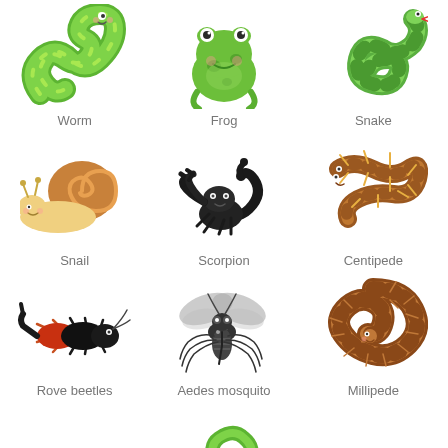[Figure (illustration): Grid of cartoon animal illustrations: Worm, Frog, Snake (row 1), Snail, Scorpion, Centipede (row 2), Rove beetles, Aedes mosquito, Millipede (row 3), plus a partial worm illustration at the bottom center.]
Worm
Frog
Snake
Snail
Scorpion
Centipede
Rove beetles
Aedes mosquito
Millipede